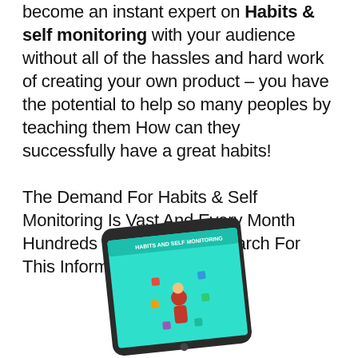become an instant expert on Habits & self monitoring with your audience without all of the hassles and hard work of creating your own product – you have the potential to help so many peoples by teaching them How can they successfully have a great habits!
The Demand For Habits & Self Monitoring Is Vast And Every Month Hundreds Of Thousands Search For This Information
[Figure (illustration): A tablet device displaying a 'Habits and Self Monitoring' book cover with a person surrounded by icons on a teal background]